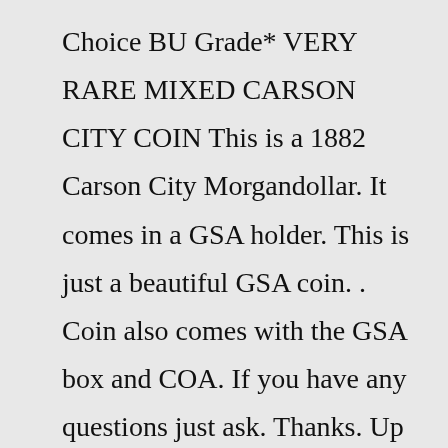Choice BU Grade* VERY RARE MIXED CARSON CITY COIN This is a 1882 Carson City Morgandollar. It comes in a GSA holder. This is just a beautiful GSA coin. . Coin also comes with the GSA box and COA. If you have any questions just ask. Thanks. Up for bid is a very large coalition of world coins and us.The box that was stamped 8315 was in fact unusual. This 1883's plastic holder only says Carson City